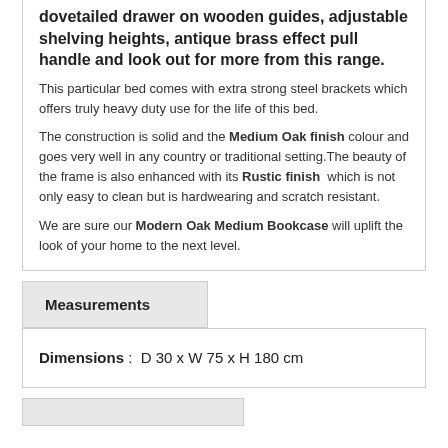dovetailed drawer on wooden guides, adjustable shelving heights, antique brass effect pull handle and look out for more from this range.
This particular bed comes with extra strong steel brackets which offers truly heavy duty use for the life of this bed.
The construction is solid and the Medium Oak finish colour and goes very well in any country or traditional setting.The beauty of the frame is also enhanced with its Rustic finish which is not only easy to clean but is hardwearing and scratch resistant.
We are sure our Modern Oak Medium Bookcase will uplift the look of your home to the next level.
Measurements
Dimensions : D 30 x W 75 x H 180 cm